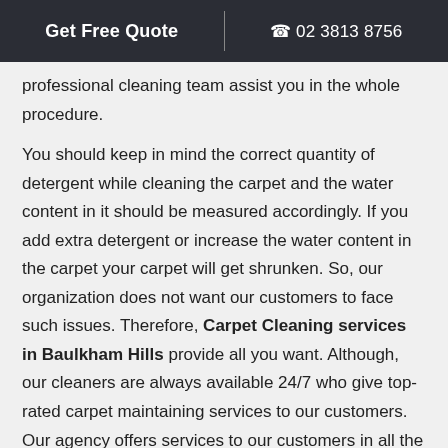Get Free Quote | 02 3813 8756
professional cleaning team assist you in the whole procedure.
You should keep in mind the correct quantity of detergent while cleaning the carpet and the water content in it should be measured accordingly. If you add extra detergent or increase the water content in the carpet your carpet will get shrunken. So, our organization does not want our customers to face such issues. Therefore, Carpet Cleaning services in Baulkham Hills provide all you want. Although, our cleaners are always available 24/7 who give top-rated carpet maintaining services to our customers. Our agency offers services to our customers in all the residential and commercial areas.